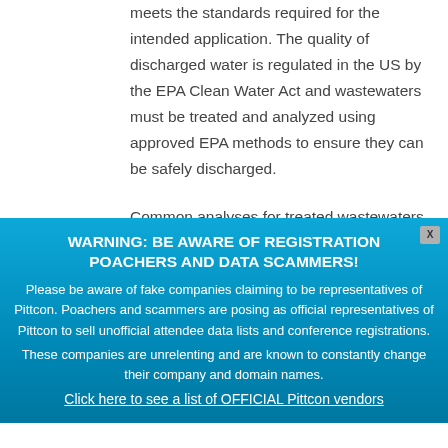meets the standards required for the intended application. The quality of discharged water is regulated in the US by the EPA Clean Water Act and wastewaters must be treated and analyzed using approved EPA methods to ensure they can be safely discharged.
Common analyses for treated wastewaters include tests for volatile organic compounds, semi-volatile organic...
WARNING: BE AWARE OF REGISTRATION POACHERS AND DATA SCAMMERS! Please be aware of fake companies claiming to be representatives of Pittcon. Poachers and scammers are posing as official representatives of Pittcon to sell unofficial attendee data lists and conference registrations. These companies are unrelenting and are known to constantly change their company and domain names. Click here to see a list of OFFICIAL Pittcon vendors